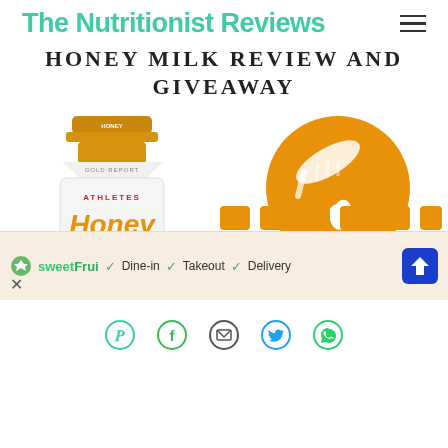The Nutritionist Reviews
HONEY MILK REVIEW AND GIVEAWAY
[Figure (photo): Athletes Honey Milk bottle with gold cap on left, and an orange circular honey/drip icon on the right, with orange decorative bar shapes at the bottom]
[Figure (infographic): Advertisement bar: sweetFrui logo, Dine-in checkmark, Takeout checkmark, Delivery checkmark, blue arrow direction sign button, and a close X]
[Figure (infographic): Social sharing icons row: Pinterest, Facebook, Email, Twitter, WhatsApp]